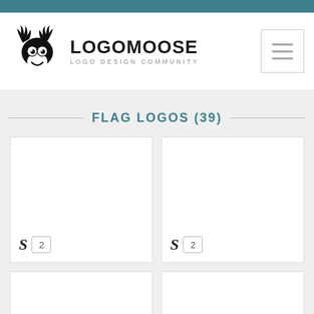[Figure (logo): LogoMoose logo with cartoon moose character and text LOGOMOOSE / LOGO DESIGN COMMUNITY]
FLAG LOGOS (39)
[Figure (logo): Logo card 1 with score S and rating 2]
[Figure (logo): Logo card 2 with score S and rating 2]
[Figure (logo): Logo card 3 partial]
[Figure (logo): Logo card 4 partial]